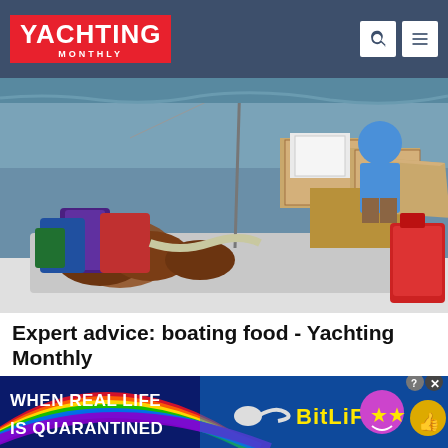YACHTING MONTHLY
[Figure (photo): A yacht deck loaded with provisions and cardboard boxes being unpacked. A person in a blue shirt sits in the background. Various food items, bags, and a red fuel can are visible on the boat deck near the water.]
Expert advice: boating food - Yachting Monthly
Once again we've gathered our Yachting Monthly panel of experts to provide their top tips for boaters and sailors. …
Yachting Monthly
[Figure (infographic): Advertisement banner for BitLife mobile game. Shows rainbow arc background with text 'WHEN REAL LIFE IS QUARANTINED' on the left, a sperm-shaped logo, 'BitLife' text in yellow, and emoji-style character icons on the right. Close and help buttons at top right.]